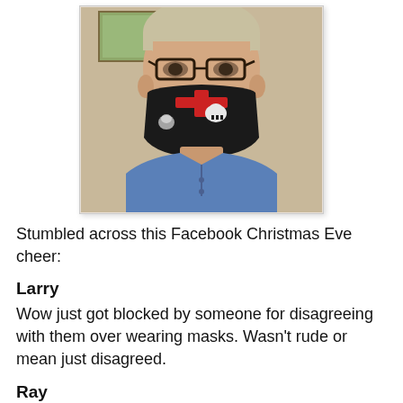[Figure (photo): A man wearing a black skull-patterned face mask with red accents and glasses, dressed in a blue shirt, taking a selfie indoors.]
Stumbled across this Facebook Christmas Eve cheer:
Larry
Wow just got blocked by someone for disagreeing with them over wearing masks. Wasn't rude or mean just disagreed.
Ray
He was just trying to tell you that that orange mask